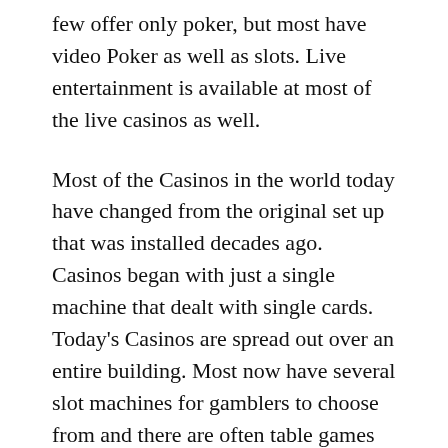few offer only poker, but most have video Poker as well as slots. Live entertainment is available at most of the live casinos as well.
Most of the Casinos in the world today have changed from the original set up that was installed decades ago. Casinos began with just a single machine that dealt with single cards. Today's Casinos are spread out over an entire building. Most now have several slot machines for gamblers to choose from and there are often table games available as well.
One way that you can find out information about Casinos in a particular area is by talking with the local travel agent. Travel agents know